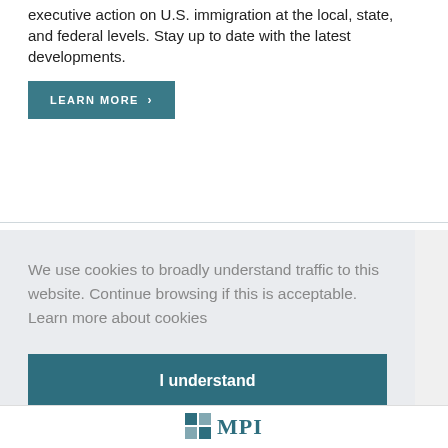executive action on U.S. immigration at the local, state, and federal levels. Stay up to date with the latest developments.
LEARN MORE >
We use cookies to broadly understand traffic to this website. Continue browsing if this is acceptable.  Learn more about cookies
I understand
[Figure (logo): MPI (Migration Policy Institute) logo at bottom of page]